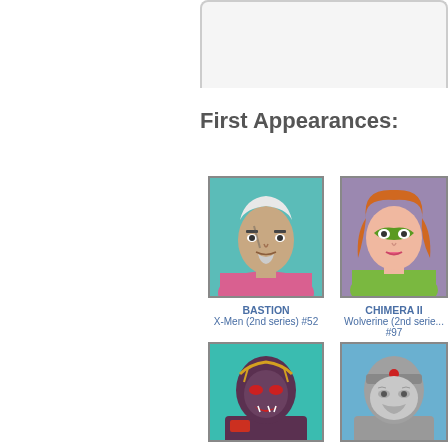First Appearances:
[Figure (illustration): Comic character portrait of BASTION - man with white hair and goatee on teal background]
BASTION
X-Men (2nd series) #52
[Figure (illustration): Comic character portrait of CHIMERA II - woman with orange hair wearing green costume on purple background]
CHIMERA II
Wolverine (2nd series) #97
[Figure (illustration): Comic character portrait of GUNSHOT - armored/mechanical character on teal background]
GUNSHOT
[Figure (illustration): Comic character portrait of OZYMANDIAS - grey armored character on blue background]
OZYMANDIAS